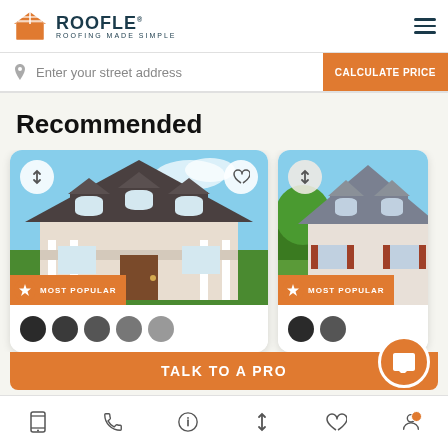[Figure (logo): Roofle logo with orange house icon and text 'ROOFLE ROOFING MADE SIMPLE']
Enter your street address
CALCULATE PRICE
Recommended
[Figure (photo): House with dark shingle roof, white columns, first card]
MOST POPULAR
[Figure (photo): House with gray shingle roof, second card partially visible]
MOST POPULAR
TALK TO A PRO
[Figure (infographic): Bottom navigation bar with phone, info, sort, heart, and profile icons]